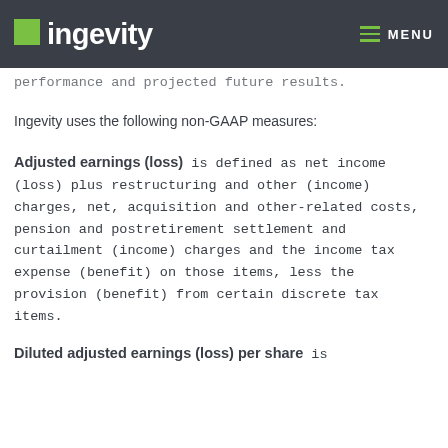Ingevity — MENU
performance and projected future results.
Ingevity uses the following non-GAAP measures:
Adjusted earnings (loss) is defined as net income (loss) plus restructuring and other (income) charges, net, acquisition and other-related costs, pension and postretirement settlement and curtailment (income) charges and the income tax expense (benefit) on those items, less the provision (benefit) from certain discrete tax items.
Diluted adjusted earnings (loss) per share is